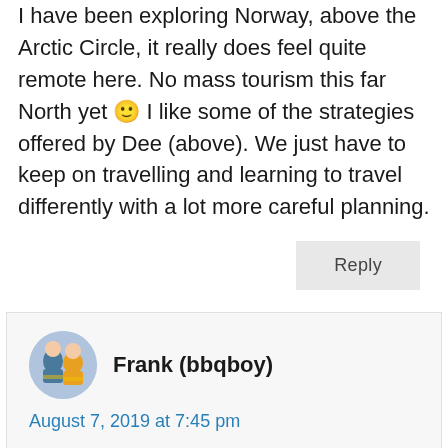I have been exploring Norway, above the Arctic Circle, it really does feel quite remote here. No mass tourism this far North yet 🙂 I like some of the strategies offered by Dee (above). We just have to keep on travelling and learning to travel differently with a lot more careful planning.
Reply
Frank (bbqboy)
August 7, 2019 at 7:45 pm
Another great comment. I've seen the changes just in the last 5 years of travelling Gilda. Back in 2014 we had people taking selfies but it was for